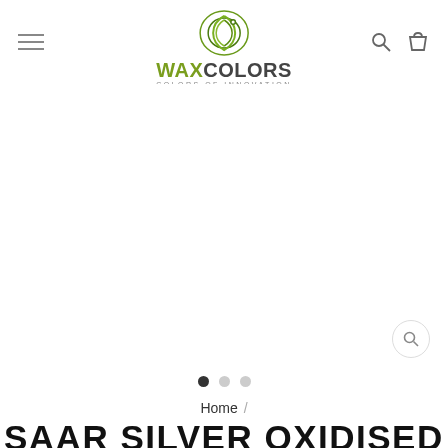WAX COLORS - COLORS OF INNOVATION
[Figure (photo): Product image area (blank/white) for SAAR SILVER OXIDISED THIA product, with a zoom magnifier icon in the bottom right corner]
• • •  (image carousel dots, first dot active)
Home /
SAAR SILVER OXIDISED THIA